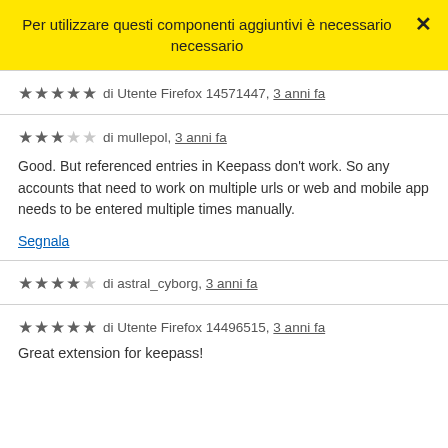Per utilizzare questi componenti aggiuntivi è necessario
scaricare Firefox
di Utente Firefox 14571447, 3 anni fa
di mullepol, 3 anni fa
Good. But referenced entries in Keepass don't work. So any accounts that need to work on multiple urls or web and mobile app needs to be entered multiple times manually.
Segnala
di astral_cyborg, 3 anni fa
di Utente Firefox 14496515, 3 anni fa
Great extension for keepass!